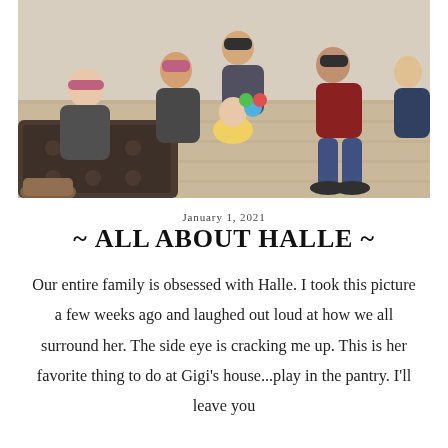[Figure (photo): Family members sitting on the floor in a living room surrounding a baby in a yellow outfit lying on the floor. A dark leather couch is visible in the foreground. Several adults and children are gathered around the baby.]
January 1, 2021
~ ALL ABOUT HALLE ~
Our entire family is obsessed with Halle. I took this picture a few weeks ago and laughed out loud at how we all surround her. The side eye is cracking me up. This is her favorite thing to do at Gigi's house...play in the pantry. I'll leave you